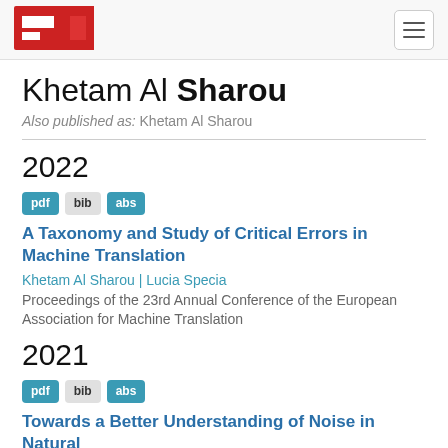Khetam Al Sharou — Author page header with logo and navigation
Khetam Al Sharou
Also published as: Khetam Al Sharou
2022
pdf bib abs
A Taxonomy and Study of Critical Errors in Machine Translation
Khetam Al Sharou | Lucia Specia
Proceedings of the 23rd Annual Conference of the European Association for Machine Translation
2021
pdf bib abs
Towards a Better Understanding of Noise in Natural